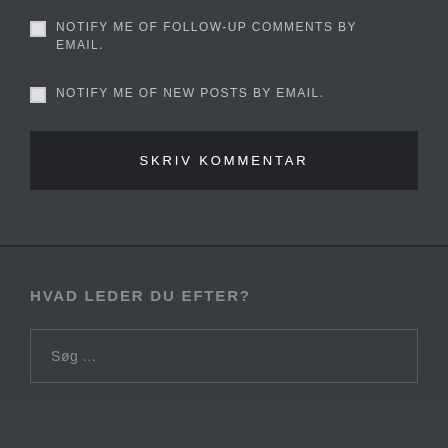NOTIFY ME OF FOLLOW-UP COMMENTS BY EMAIL.
NOTIFY ME OF NEW POSTS BY EMAIL.
SKRIV KOMMENTAR
HVAD LEDER DU EFTER?
Søg ...